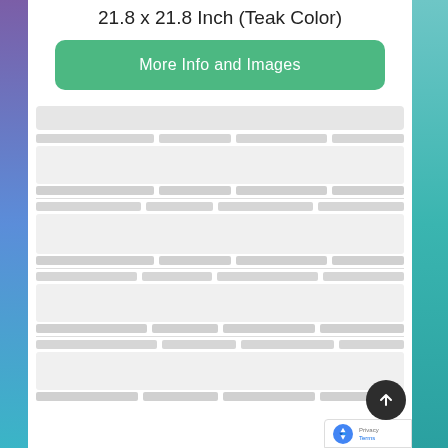21.8 x 21.8 Inch (Teak Color)
More Info and Images
[Figure (screenshot): Skeleton loading table with multiple rows and columns showing placeholder gray blocks, representing a product comparison or specification table in loading state.]